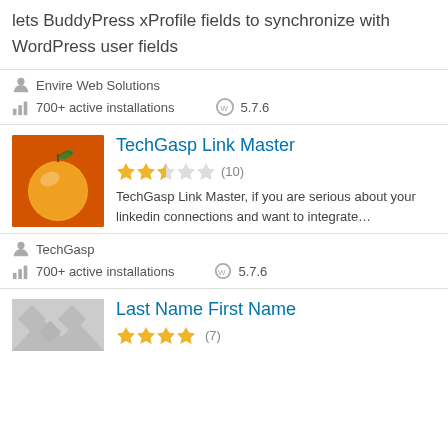lets BuddyPress xProfile fields to synchronize with WordPress user fields
Envire Web Solutions
700+ active installations   5.7.6
TechGasp Link Master
[Figure (photo): Orange fruit on an orange background]
2.5 stars out of 5 (10)
TechGasp Link Master, if you are serious about your linkedin connections and want to integrate…
TechGasp
700+ active installations   5.7.6
Last Name First Name
[Figure (photo): Gray placeholder image with diagonal pattern]
4+ stars (7)